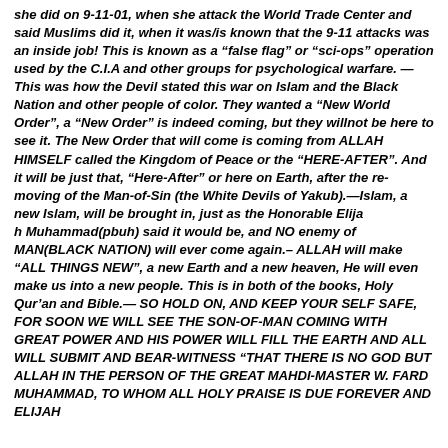she did on 9-11-01, when she attack the World Trade Center and said Muslims did it, when it was/is known that the 9-11 attacks was an inside job! This is known as a “false flag” or “sci-ops” operation used by the C.I.A and other groups for psychological warfare. —This was how the Devil stated this war on Islam and the Black Nation and other people of color. They wanted a “New World Order”, a “New Order” is indeed coming, but they willnot be here to see it. The New Order that will come is coming from ALLAH HIMSELF called the Kingdom of Peace or the “HERE-AFTER”. And it will be just that, “Here-After” or here on Earth, after the re-moving of the Man-of-Sin (the White Devils of Yakub).—Islam, a new Islam, will be brought in, just as the Honorable Elija
h Muhammad(pbuh) said it would be, and NO enemy of MAN(BLACK NATION) will ever come again.– ALLAH will make “ALL THINGS NEW”, a new Earth and a new heaven, He will even make us into a new people. This is in both of the books, Holy Qur’an and Bible.— SO HOLD ON, AND KEEP YOUR SELF SAFE, FOR SOON WE WILL SEE THE SON-OF-MAN COMING WITH GREAT POWER AND HIS POWER WILL FILL THE EARTH AND ALL WILL SUBMIT AND BEAR-WITNESS “THAT THERE IS NO GOD BUT ALLAH IN THE PERSON OF THE GREAT MAHDI-MASTER W. FARD MUHAMMAD, TO WHOM ALL HOLY PRAISE IS DUE FOREVER AND ELIJAH